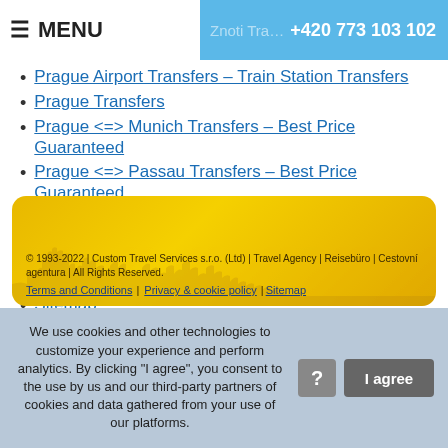MENU | Znoti Transfers – Lezi... | +420 773 103 102
Prague Airport Transfers – Train Station Transfers
Prague Transfers
Prague <=> Munich Transfers – Best Price Guaranteed
Prague <=> Passau Transfers – Best Price Guaranteed
Prague <=> Nuremberg Transfers – Best Price Guaranteed
Prague <=> Regensburg Transfers – Best Price Guaranteed
Sitemap
© 1993-2022 | Custom Travel Services s.r.o. (Ltd) | Travel Agency | Reisebüro | Cestovní agentura | All Rights Reserved. Terms and Conditions | Privacy & cookie policy | Sitemap
We use cookies and other technologies to customize your experience and perform analytics. By clicking "I agree", you consent to the use by us and our third-party partners of cookies and data gathered from your use of our platforms.